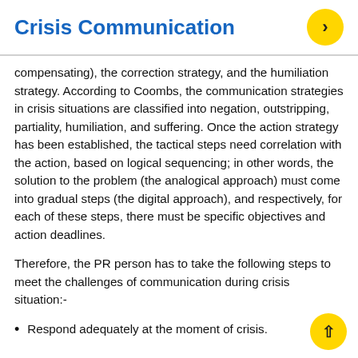Crisis Communication
compensating), the correction strategy, and the humiliation strategy. According to Coombs, the communication strategies in crisis situations are classified into negation, outstripping, partiality, humiliation, and suffering. Once the action strategy has been established, the tactical steps need correlation with the action, based on logical sequencing; in other words, the solution to the problem (the analogical approach) must come into gradual steps (the digital approach), and respectively, for each of these steps, there must be specific objectives and action deadlines.
Therefore, the PR person has to take the following steps to meet the challenges of communication during crisis situation:-
Respond adequately at the moment of crisis.